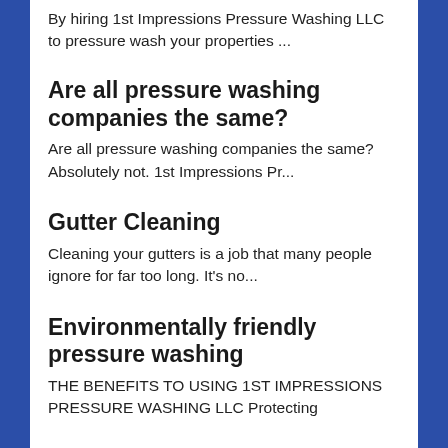By hiring 1st Impressions Pressure Washing LLC to pressure wash your properties ...
Are all pressure washing companies the same?
Are all pressure washing companies the same? Absolutely not. 1st Impressions Pr...
Gutter Cleaning
Cleaning your gutters is a job that many people ignore for far too long. It’s no...
Environmentally friendly pressure washing
THE BENEFITS TO USING 1ST IMPRESSIONS PRESSURE WASHING LLC Protecting